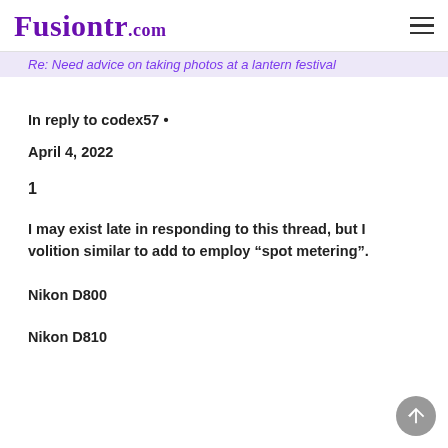Fusiontr.com
Re: Need advice on taking photos at a lantern festival
In reply to codex57 •
April 4, 2022
1
I may exist late in responding to this thread, but I volition similar to add to employ “spot metering”.
Nikon D800
Nikon D810